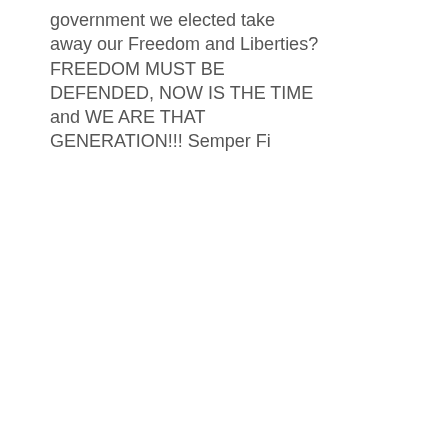government we elected take away our Freedom and Liberties? FREEDOM MUST BE DEFENDED, NOW IS THE TIME and WE ARE THAT GENERATION!!! Semper Fi